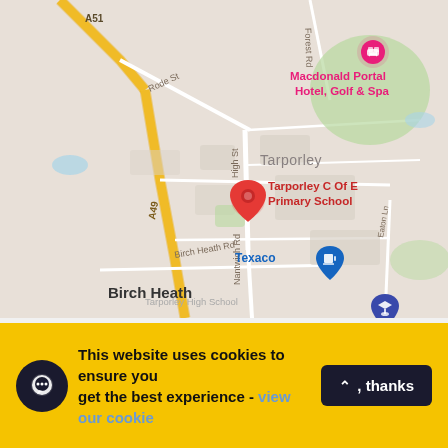[Figure (map): Google Maps screenshot showing Tarporley area in England. Key landmarks labeled: Macdonald Portal Hotel Golf & Spa (pink marker, top right), Tarporley C Of E Primary School (red pin marker, center), Texaco fuel station (blue marker, center-left), Tarporley High School (dark blue marker, lower center). Roads shown include A51, A49, Rode St, Forest Rd, High St, Nantwich Rd, Birch Heath Rd, Eaton Ln. Area labels include Tarporley, Birch Heath, Rhuddale Heath. Green wooded areas visible upper right.]
This website uses cookies to ensure you get the best experience - view our cookie
Okay, thanks